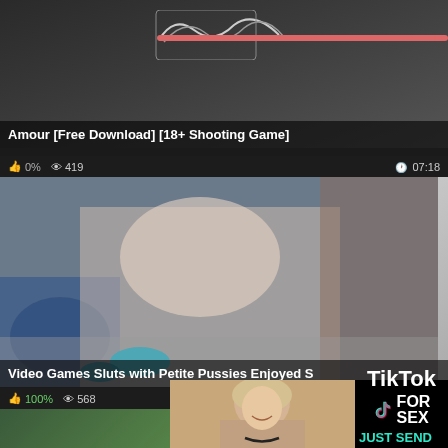[Figure (screenshot): Video thumbnail with dark background, abstract line drawing at top, pink bar, title overlay reading 'Amour [Free Download] [18+ Shooting Game]']
[Figure (screenshot): Video thumbnail showing animated/3D blonde figure, meta bar showing 0% likes, 419 views, 07:18 duration, title 'Video Games Sluts with Petite Pussies Enjoyed S']
[Figure (screenshot): Third video card showing 100% likes, 568 views, green plant thumbnail, partially covered by ad overlay. Ad overlay contains photo of smiling middle-aged blonde woman and TikTok for Sex advertisement.]